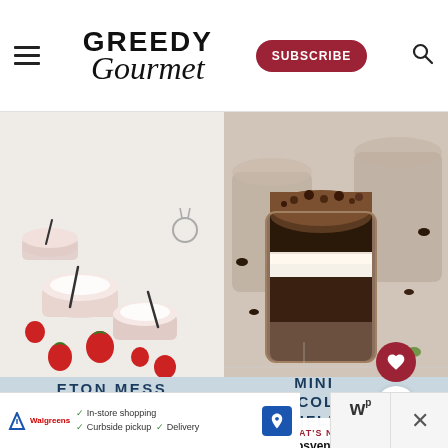Greedy Gourmet — SUBSCRIBE
[Figure (photo): Overhead shot of Eton Mess desserts with strawberries on a white surface]
[Figure (photo): Mini chocolate trifles in glass cups topped with chocolate crumbs on a white surface]
ETON MESS
MINI CHOCOLATE TRIFLES
WHAT'S NEXT → Grosvenor Fish Bar...
Facebook Twitter Pinterest Yummly social share buttons
In-store shopping  ✓ Curbside pickup  ✓ Delivery